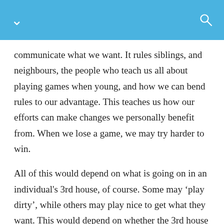communicate what we want. It rules siblings, and neighbours, the people who teach us all about playing games when young, and how we can bend rules to our advantage. This teaches us how our efforts can make changes we personally benefit from. When we lose a game, we may try harder to win.
All of this would depend on what is going on in an individual's 3rd house, of course. Some may ‘play dirty’, while others may play nice to get what they want. This would depend on whether the 3rd house has benefic or malefic planets in the 3rd or influencing in some way. While malefics are well-placed in this house, benefics can show a timid individual who rolls over at the first sign of